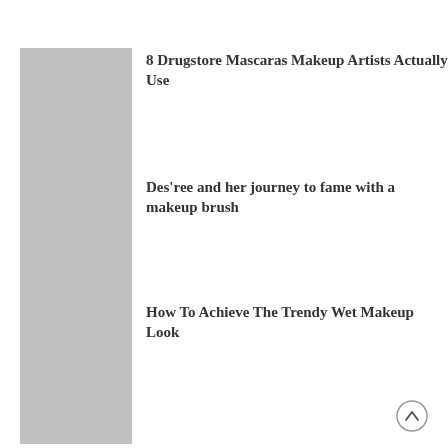[Figure (photo): Gray placeholder thumbnail image (partial, cropped at top)]
8 Drugstore Mascaras Makeup Artists Actually Use
[Figure (photo): Gray placeholder thumbnail image]
Des'ree and her journey to fame with a makeup brush
[Figure (photo): Gray placeholder thumbnail image]
How To Achieve The Trendy Wet Makeup Look
[Figure (photo): Gray placeholder thumbnail image]